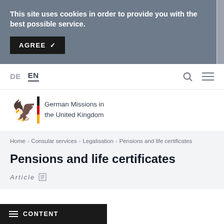This site uses cookies in order to provide you with the best possible service.
AGREE ✓
DE  EN
[Figure (logo): German Missions in the United Kingdom logo with federal eagle and German flag stripe]
Home › Consular services › Legalisation › Pensions and life certificates
Pensions and life certificates
Article
≡ CONTENT